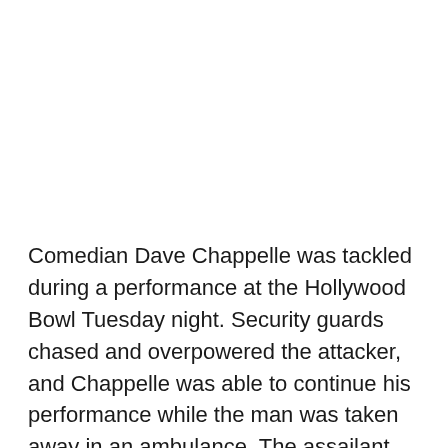Comedian Dave Chappelle was tackled during a performance at the Hollywood Bowl Tuesday night. Security guards chased and overpowered the attacker, and Chappelle was able to continue his performance while the man was taken away in an ambulance. The assailant was carrying a replica handgun with a knife blade inside, authorities said.